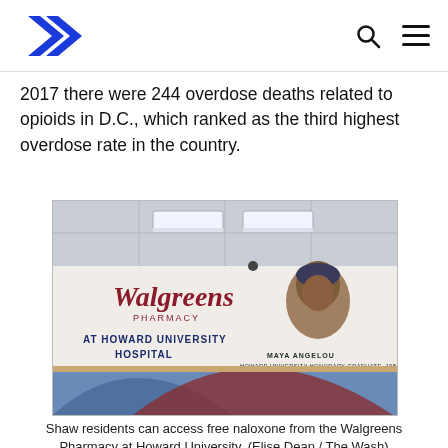[Logo] [Search] [Menu]
2017 there were 244 overdose deaths related to opioids in D.C., which ranked as the third highest overdose rate in the country.
[Figure (photo): Interior of Walgreens Pharmacy at Howard University Hospital, showing a wall mural with the Walgreens Pharmacy logo, text 'AT HOWARD UNIVERSITY HOSPITAL', a portrait illustration of Maya Angelou, and text 'MAYA ANGELOU HOWARD UNIVERSITY HONORARY GRADUATE, 1983'. Fluorescent lights on ceiling, colorful wall art at bottom.]
Shaw residents can access free naloxone from the Walgreens Pharmacy at Howard University. (Elise Dean / The Wash)